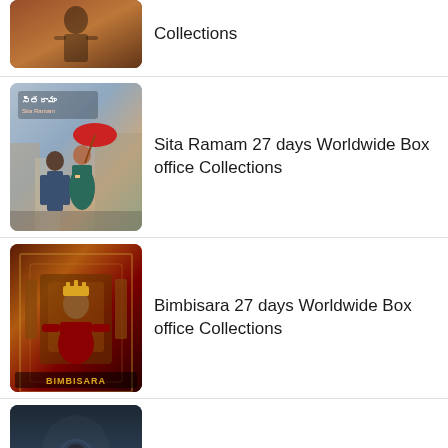[Figure (photo): Movie poster thumbnail for a Telugu film (top item, partially visible)]
Collections
[Figure (photo): Movie poster for Sita Ramam showing couple with red umbrella]
Sita Ramam 27 days Worldwide Box office Collections
[Figure (photo): Movie poster for Bimbisara showing king on throne with BIMBISARA text]
Bimbisara 27 days Worldwide Box office Collections
[Figure (photo): Movie poster for Liger showing dark superhero/fighter figure with LIGER text in red]
Liger 7 days Worldwide Box office collections